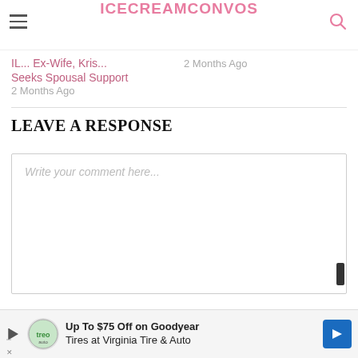ICECREAMCONVOS
IL... Ex-Wife, Kris... Seeks Spousal Support
2 Months Ago
2 Months Ago
LEAVE A RESPONSE
Write your comment here...
Up To $75 Off on Goodyear Tires at Virginia Tire & Auto